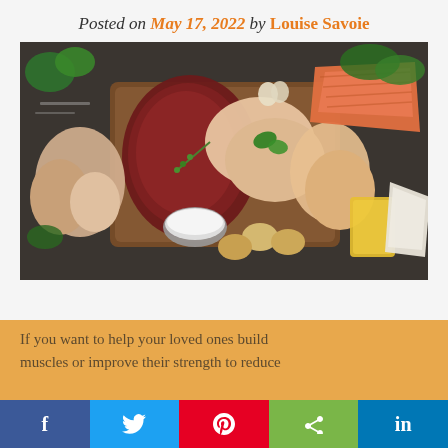Posted on May 17, 2022 by Louise Savoie
[Figure (photo): Overhead flat-lay of various raw protein foods on a wooden cutting board and dark surface: red meat (beef steak), raw chicken breast fillets, raw chicken thighs/drumsticks, salmon fillet, a bowl of milk, raw eggs, sliced yellow cheese, brie cheese wedge, garlic cloves, and fresh green herbs (basil, parsley, rosemary).]
If you want to help your loved ones build muscles or improve their strength to reduce
f  Twitter  Pinterest  Share  in